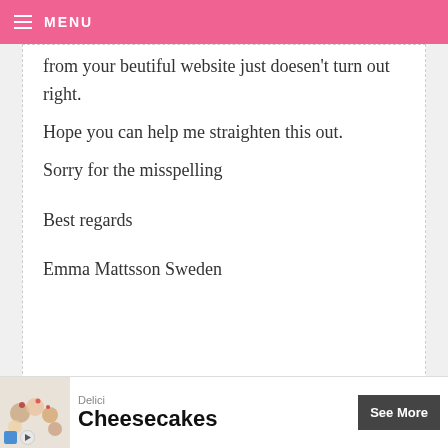MENU
from your beutiful website just doesen't turn out right.
Hope you can help me straighten this out.
Sorry for the misspelling

Best regards

Emma Mattsson Sweden
MAGDALÉNA — AUGUST 27, 2013 @ 1:16 AM
REPLY
[Figure (screenshot): Advertisement banner for Delici Cheesecakes with See More button]